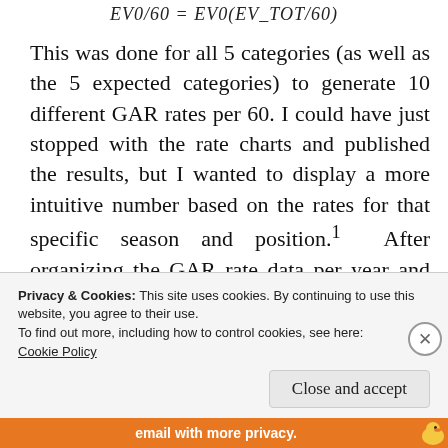This was done for all 5 categories (as well as the 5 expected categories) to generate 10 different GAR rates per 60. I could have just stopped with the rate charts and published the results, but I wanted to display a more intuitive number based on the rates for that specific season and position.¹ After organizing the GAR rate data per year and by position (D or F), the range of values was
Privacy & Cookies: This site uses cookies. By continuing to use this website, you agree to their use.
To find out more, including how to control cookies, see here:
Cookie Policy
Close and accept
email with more privacy.